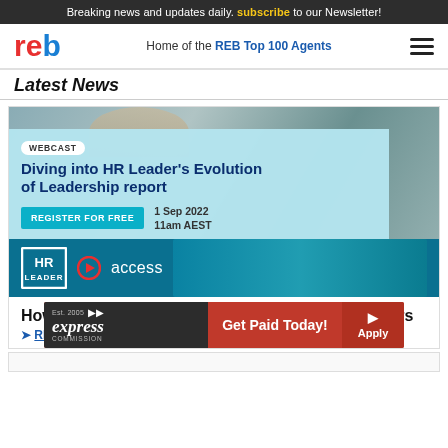Breaking news and updates daily. subscribe to our Newsletter!
[Figure (logo): REB logo - red and blue letters]
Home of the REB Top 100 Agents
Latest News
[Figure (infographic): Webcast advertisement: Diving into HR Leader's Evolution of Leadership report. REGISTER FOR FREE. 1 Sep 2022 11am AEST. HR Leader and access logos.]
How ethics, sustainability drive Gen Y home buyers
READ MORE
[Figure (infographic): Express Commission advertisement: Est. 2005 express COMMISSION - Get Paid Today! Apply button.]